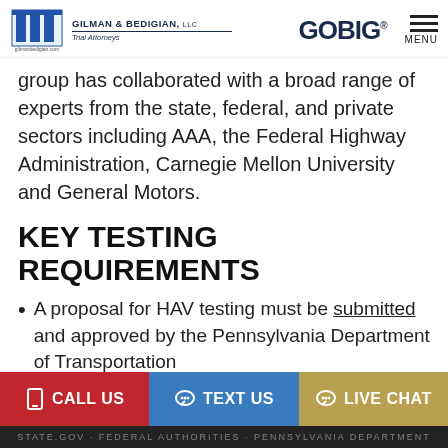Gilman & Bedigian, LLC Trial Attorneys | GOBIG | MENU
group has collaborated with a broad range of experts from the state, federal, and private sectors including AAA, the Federal Highway Administration, Carnegie Mellon University and General Motors.
KEY TESTING REQUIREMENTS
A proposal for HAV testing must be submitted and approved by the Pennsylvania Department of Transportation
CALL US   TEXT US   LIVE CHAT